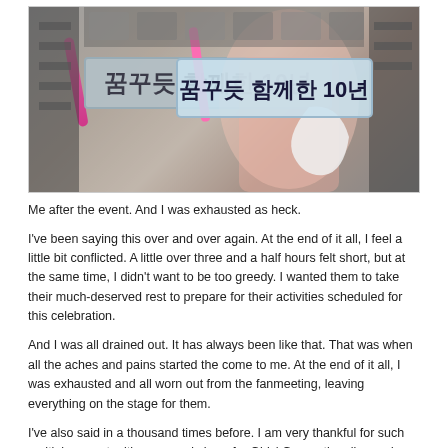[Figure (photo): Person holding a sign with Korean text reading '꿈꾸듯 함께한 10년' (10 years together as if dreaming), holding a pink light stick, in what appears to be a store or event venue.]
Me after the event. And I was exhausted as heck.
I've been saying this over and over again. At the end of it all, I feel a little bit conflicted. A little over three and a half hours felt short, but at the same time, I didn't want to be too greedy. I wanted them to take their much-deserved rest to prepare for their activities scheduled for this celebration.
And I was all drained out. It has always been like that. That was when all the aches and pains started the come to me. At the end of it all, I was exhausted and all worn out from the fanmeeting, leaving everything on the stage for them.
I've also said in a thousand times before. I am very thankful for such multiple opportunities see and cheer for Girls' Generation, live and